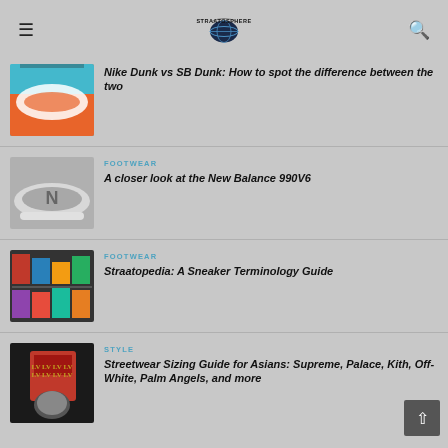Straatosphere
[Figure (photo): Nike Dunk sneakers thumbnail - orange and white colorway]
Nike Dunk vs SB Dunk: How to spot the difference between the two
[Figure (photo): New Balance 990V6 grey sneaker held in hand]
FOOTWEAR
A closer look at the New Balance 990V6
[Figure (photo): Colorful sneakers on shelves at a sneaker store]
FOOTWEAR
Straatopedia: A Sneaker Terminology Guide
[Figure (photo): Person wearing red Supreme Louis Vuitton hoodie and grey hoodie streetwear]
STYLE
Streetwear Sizing Guide for Asians: Supreme, Palace, Kith, Off-White, Palm Angels, and more